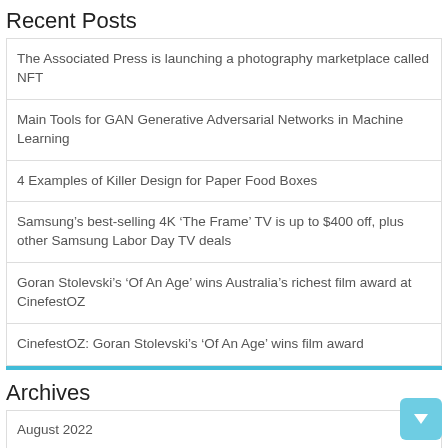Recent Posts
The Associated Press is launching a photography marketplace called NFT
Main Tools for GAN Generative Adversarial Networks in Machine Learning
4 Examples of Killer Design for Paper Food Boxes
Samsung’s best-selling 4K ‘The Frame’ TV is up to $400 off, plus other Samsung Labor Day TV deals
Goran Stolevski’s ‘Of An Age’ wins Australia’s richest film award at CinefestOZ
CinefestOZ: Goran Stolevski’s ‘Of An Age’ wins film award
Archives
August 2022
July 2022
June 2022